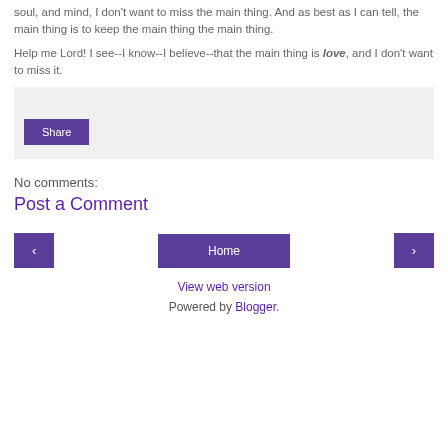soul, and mind, I don't want to miss the main thing. And as best as I can tell, the main thing is to keep the main thing the main thing.
Help me Lord! I see--I know--I believe--that the main thing is love, and I don't want to miss it.
[Figure (other): Share button in a light grey box]
No comments:
Post a Comment
[Figure (other): Navigation row with left arrow button, Home button, and right arrow button]
View web version
Powered by Blogger.